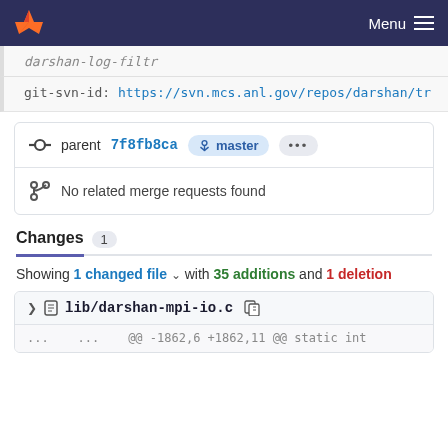Menu
darshan-log-filtr
git-svn-id: https://svn.mcs.anl.gov/repos/darshan/tr
parent 7f8fb8ca  master  ...
No related merge requests found
Changes 1
Showing 1 changed file with 35 additions and 1 deletion
lib/darshan-mpi-io.c
... ... @@ -1862,6 +1862,11 @@ static int